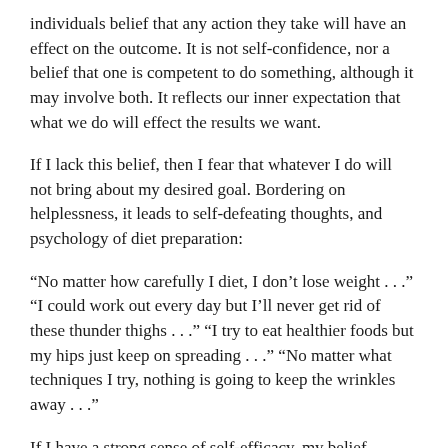individuals belief that any action they take will have an effect on the outcome. It is not self-confidence, nor a belief that one is competent to do something, although it may involve both. It reflects our inner expectation that what we do will effect the results we want.
If I lack this belief, then I fear that whatever I do will not bring about my desired goal. Bordering on helplessness, it leads to self-defeating thoughts, and psychology of diet preparation:
“No matter how carefully I diet, I don’t lose weight . . .” “I could work out every day but I’ll never get rid of these thunder thighs . . .” “I try to eat healthier foods but my hips just keep on spreading . . .” “No matter what techniques I try, nothing is going to keep the wrinkles away . . .”
If I have a strong sense of self-efficacy, my belief system and thought patterns will sound like: